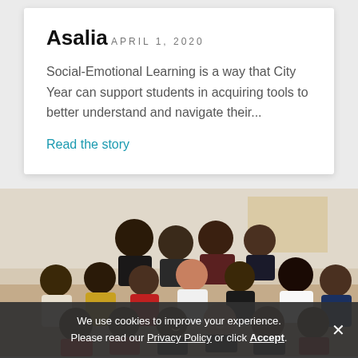Asalia
APRIL 1, 2020
Social-Emotional Learning is a way that City Year can support students in acquiring tools to better understand and navigate their...
Read the story
[Figure (photo): Group photo of approximately 18 young people posed together indoors, some seated, some standing, in a school or community center setting.]
We use cookies to improve your experience. Please read our Privacy Policy or click Accept.